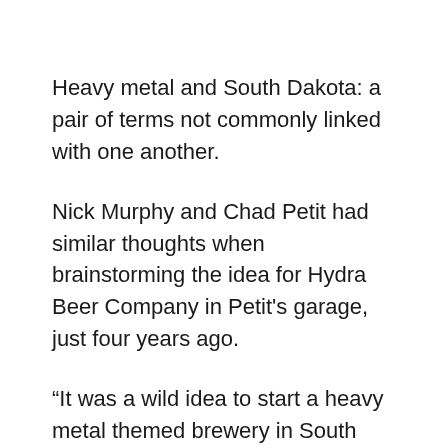Heavy metal and South Dakota: a pair of terms not commonly linked with one another.
Nick Murphy and Chad Petit had similar thoughts when brainstorming the idea for Hydra Beer Company in Petit's garage, just four years ago.
“It was a wild idea to start a heavy metal themed brewery in South Dakota,” said Murphy. “Though the community has been very supportive of us.”